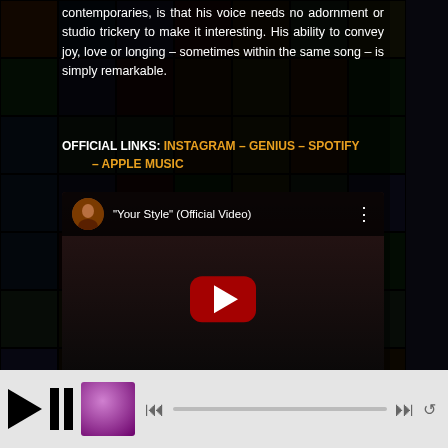contemporaries, is that his voice needs no adornment or studio trickery to make it interesting. His ability to convey joy, love or longing – sometimes within the same song – is simply remarkable.
OFFICIAL LINKS: INSTAGRAM – GENIUS – SPOTIFY – APPLE MUSIC
[Figure (screenshot): Embedded YouTube video player showing 'Your Style' (Official Video) with red play button]
[Figure (screenshot): Spotify embed showing Rj Chambers artist page with purple background and Spotify logo]
[Figure (screenshot): Media player bottom bar with play button, pause bars, album art thumbnail, and progress bar]